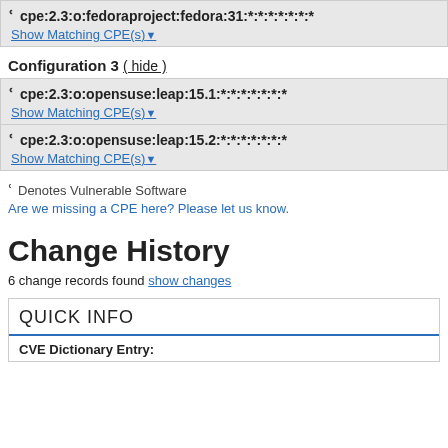cpe:2.3:o:fedoraproject:fedora:31:*:*:*:*:*:*:*
Show Matching CPE(s)▾
Configuration 3 ( hide )
cpe:2.3:o:opensuse:leap:15.1:*:*:*:*:*:*:*
Show Matching CPE(s)▾
cpe:2.3:o:opensuse:leap:15.2:*:*:*:*:*:*:*
Show Matching CPE(s)▾
Denotes Vulnerable Software
Are we missing a CPE here? Please let us know.
Change History
6 change records found show changes
QUICK INFO
CVE Dictionary Entry: